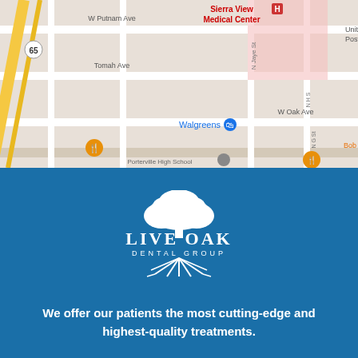[Figure (map): Google Maps screenshot showing area near Sierra View Medical Center with streets including W Putnam Ave, Tomah Ave, W Oak Ave, and landmarks like Walgreens. Map shows a section of Porterville, CA.]
[Figure (logo): Live Oak Dental Group logo: white tree illustration on top, text LIVE OAK in large serif font, DENTAL GROUP in smaller spaced sans-serif, white root illustration below.]
We offer our patients the most cutting-edge and highest-quality treatments.